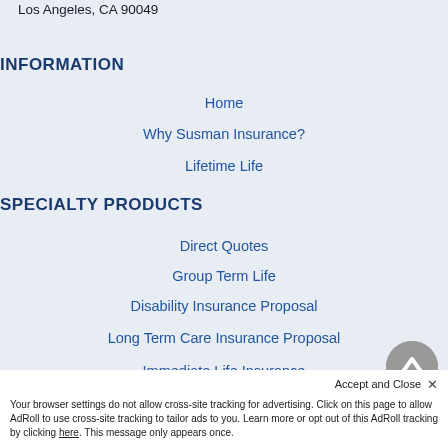Los Angeles, CA 90049
INFORMATION
Home
Why Susman Insurance?
Lifetime Life
SPECIALTY PRODUCTS
Direct Quotes
Group Term Life
Disability Insurance Proposal
Long Term Care Insurance Proposal
Immediate Life Insurance
CONTACT US
Accept and Close ×
Your browser settings do not allow cross-site tracking for advertising. Click on this page to allow AdRoll to use cross-site tracking to tailor ads to you. Learn more or opt out of this AdRoll tracking by clicking here. This message only appears once.